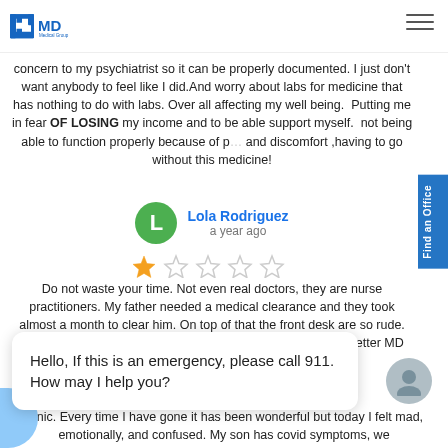GoMD Medical Group
concern to my psychiatrist so it can be properly documented. I just don't want anybody to feel like I did.And worry about labs for medicine that has nothing to do with labs. Over all affecting my well being. Putting me in fear OF LOSING my income and to be able support myself. not being able to function properly because of pain and discomfort ,having to go without this medicine!
Lola Rodriguez — a year ago
1 star rating. Do not waste your time. Not even real doctors, they are nurse practitioners. My father needed a medical clearance and they took almost a month to clear him. On top of that the front desk are so rude. Very young girls who can care less about their patients. Do better MD
Hello, If this is an emergency, please call 911. How may I help you?
clinic. Every time I have gone it has been wonderful but today I felt mad, emotionally, and confused. My son has covid symptoms, we